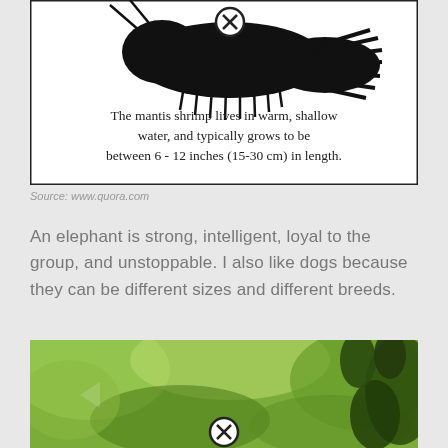[Figure (illustration): Black silhouette of a mantis shrimp on white background with text overlay: 'The mantis shrimp lives in warm, shallow water, and typically grows to be between 6 - 12 inches (15-30 cm) in length.']
Source: www.quora.com
An elephant is strong, intelligent, loyal to the group, and unstoppable. I also like dogs because they can be different sizes and different breeds.
[Figure (photo): Blurred green photo of leaves/branches with a dog's ears visible, with an X close button overlay at bottom center.]